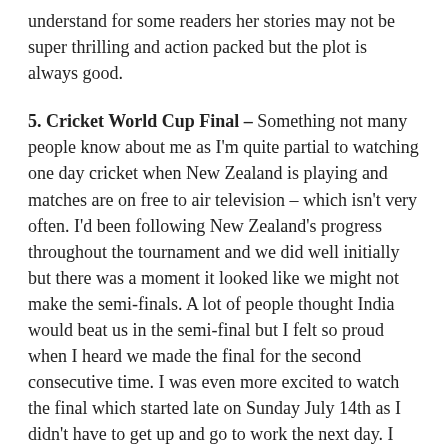understand for some readers her stories may not be super thrilling and action packed but the plot is always good.
5. Cricket World Cup Final – Something not many people know about me as I'm quite partial to watching one day cricket when New Zealand is playing and matches are on free to air television – which isn't very often. I'd been following New Zealand's progress throughout the tournament and we did well initially but there was a moment it looked like we might not make the semi-finals. A lot of people thought India would beat us in the semi-final but I felt so proud when I heard we made the final for the second consecutive time. I was even more excited to watch the final which started late on Sunday July 14th as I didn't have to get up and go to work the next day. I did well to stay up all night and only fell asleep briefly during England's innings. For the last hour of the game I was nervous and couldn't sit still, I was literally pacing on the spot because of how close the game was going to be. New